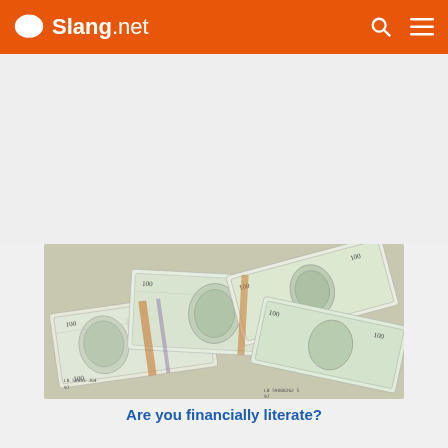Slang.net
[Figure (photo): A pile of US $100 dollar bills scattered and overlapping each other]
Are you financially literate?